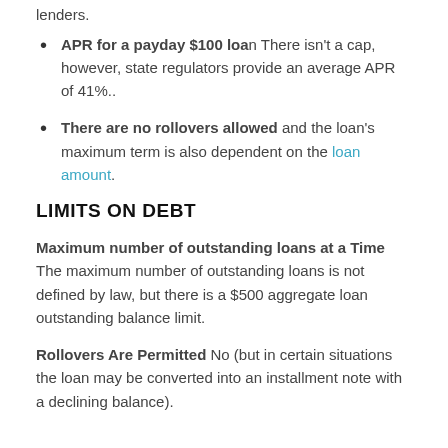lenders.
APR for a payday $100 loan There isn't a cap, however, state regulators provide an average APR of 41%..
There are no rollovers allowed and the loan's maximum term is also dependent on the loan amount.
LIMITS ON DEBT
Maximum number of outstanding loans at a Time The maximum number of outstanding loans is not defined by law, but there is a $500 aggregate loan outstanding balance limit.
Rollovers Are Permitted No (but in certain situations the loan may be converted into an installment note with a declining balance).